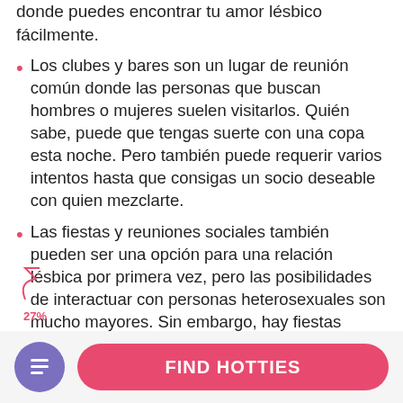donde puedes encontrar tu amor lésbico fácilmente.
Los clubes y bares son un lugar de reunión común donde las personas que buscan hombres o mujeres suelen visitarlos. Quién sabe, puede que tengas suerte con una copa esta noche. Pero también puede requerir varios intentos hasta que consigas un socio deseable con quien mezclarte.
Las fiestas y reuniones sociales también pueden ser una opción para una relación lésbica por primera vez, pero las posibilidades de interactuar con personas heterosexuales son mucho mayores. Sin embargo, hay fiestas comunitarias de mujeres queer donde podrías conseguir algunas posibles